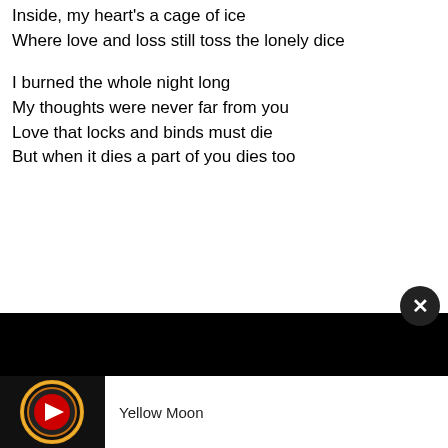Inside, my heart's a cage of ice
Where love and loss still toss the lonely dice

I burned the whole night long
My thoughts were never far from you
Love that locks and binds must die
But when it dies a part of you dies too
[Figure (screenshot): YouTube video embed bar at bottom of page showing a close button (X) in dark circle, a black video area, and a bottom bar with YouTube thumbnail (red play button on dark circular album art) and text 'Yellow Moon']